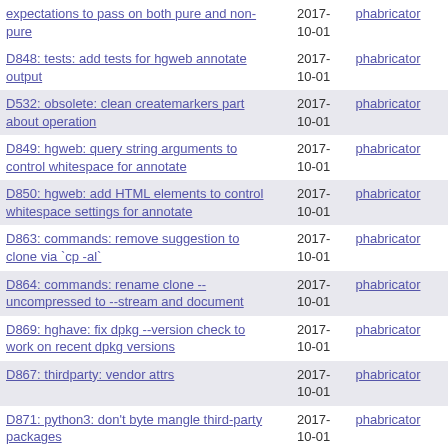| Title | Date | Source |
| --- | --- | --- |
| expectations to pass on both pure and non-pure | 2017-10-01 | phabricator |
| D848: tests: add tests for hgweb annotate output | 2017-10-01 | phabricator |
| D532: obsolete: clean createmarkers part about operation | 2017-10-01 | phabricator |
| D849: hgweb: query string arguments to control whitespace for annotate | 2017-10-01 | phabricator |
| D850: hgweb: add HTML elements to control whitespace settings for annotate | 2017-10-01 | phabricator |
| D863: commands: remove suggestion to clone via `cp -al` | 2017-10-01 | phabricator |
| D864: commands: rename clone --uncompressed to --stream and document | 2017-10-01 | phabricator |
| D869: hghave: fix dpkg --version check to work on recent dpkg versions | 2017-10-01 | phabricator |
| D867: thirdparty: vendor attrs | 2017-10-01 | phabricator |
| D871: python3: don't byte mangle third-party packages | 2017-10-01 | phabricator |
| D871: python3: don't byte mangle third-party packages | 2017-10-01 | phabricator |
| D868: changelog: use attrs instead of namedtuple | 2017-10-01 | phabricator |
| D866: tests: disable lints on mercurial/thirdparty | 2017-10-01 | phabricator |
| D867: thirdparty: vendor attrs | 2017-10-01 | phabricator |
| D865: obsmarker: fix crash when metadata... | 2017- |  |